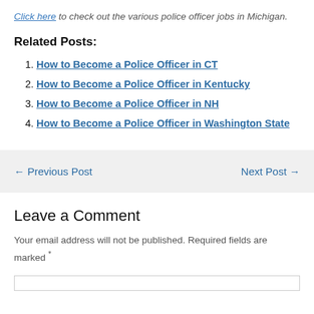Click here to check out the various police officer jobs in Michigan.
Related Posts:
How to Become a Police Officer in CT
How to Become a Police Officer in Kentucky
How to Become a Police Officer in NH
How to Become a Police Officer in Washington State
← Previous Post    Next Post →
Leave a Comment
Your email address will not be published. Required fields are marked *